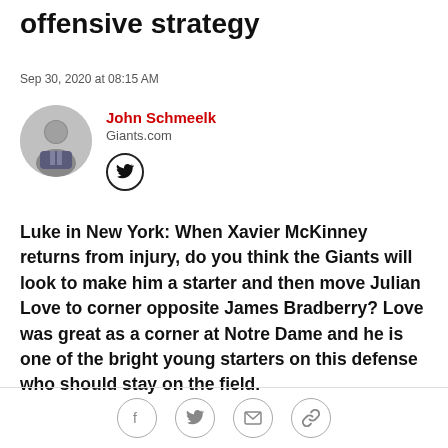offensive strategy
Sep 30, 2020 at 08:15 AM
John Schmeelk
Giants.com
Luke in New York: When Xavier McKinney returns from injury, do you think the Giants will look to make him a starter and then move Julian Love to corner opposite James Bradberry? Love was great as a corner at Notre Dame and he is one of the bright young starters on this defense who should stay on the field.
[Figure (other): Social share icons: Facebook, Twitter, Email, Link]